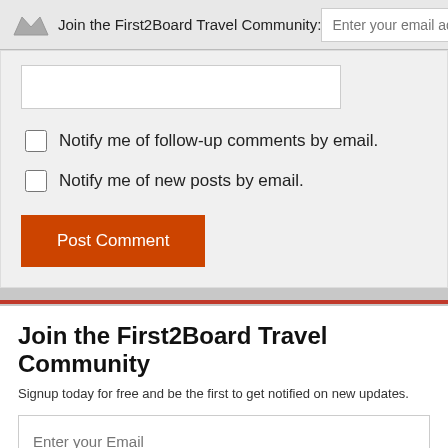Join the First2Board Travel Community:
Enter your email addres
Join Now
Notify me of follow-up comments by email.
Notify me of new posts by email.
Post Comment
Join the First2Board Travel Community
Signup today for free and be the first to get notified on new updates.
Enter your Email
Subscribe Now